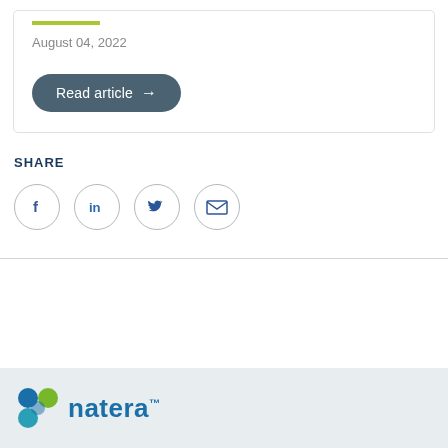August 04, 2022
Read article →
SHARE
[Figure (other): Social share icons: Facebook, LinkedIn, Twitter, Email — each in a circle outline]
[Figure (logo): Natera logo with colorful circular icon and 'natera' wordmark in blue with TM symbol]